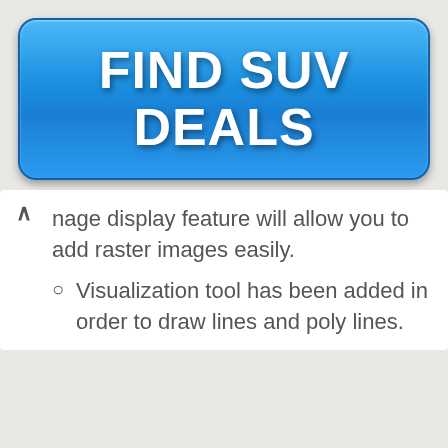[Figure (screenshot): Blue rounded rectangle button with bold white text reading FIND SUV DEALS]
nage display feature will allow you to add raster images easily.
Visualization tool has been added in order to draw lines and poly lines.